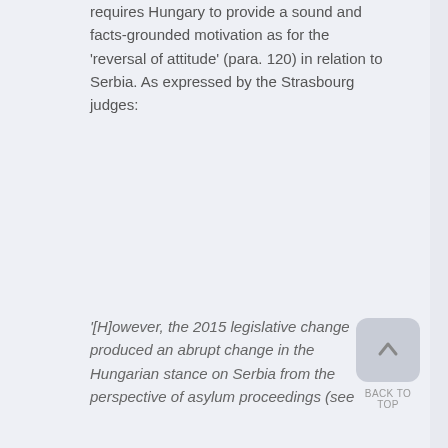requires Hungary to provide a sound and facts-grounded motivation as for the 'reversal of attitude' (para. 120) in relation to Serbia. As expressed by the Strasbourg judges:
'[H]owever, the 2015 legislative change produced an abrupt change in the Hungarian stance on Serbia from the perspective of asylum proceedings (see